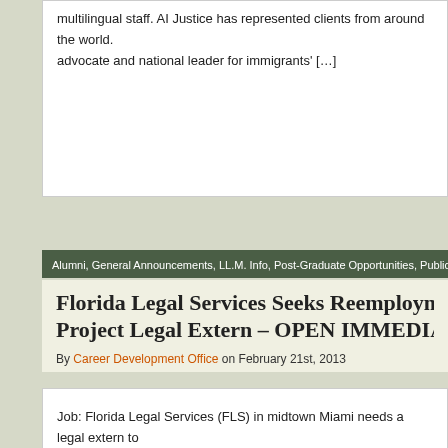multilingual staff. AI Justice has represented clients from around the world. advocate and national leader for immigrants' […]
Alumni, General Announcements, LL.M. Info, Post-Graduate Opportunities, Public Intere
Florida Legal Services Seeks Reemployme Project Legal Extern – OPEN IMMEDIAT
By Career Development Office on February 21st, 2013
Job: Florida Legal Services (FLS) in midtown Miami needs a legal extern to Assistance Pro Bono Project starting February 2013.  The individual will ov individuals in the community, screen and interview clients, assess the merits to clients based on feedback from senior attorneys, timely […]
*This Week at the CDO*, 2L Info, 3L Info, Alumni, General Announcements, Judicial Cl